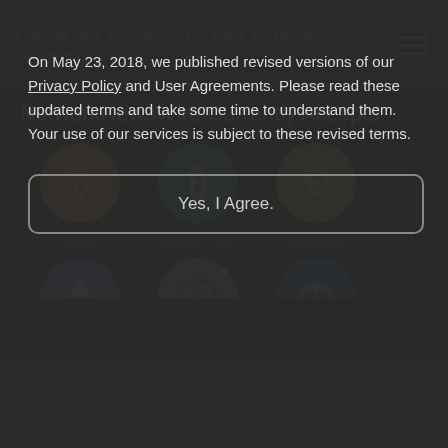Financial news and publishing for public and private companies
NetworkNewsWire Currently Accepts
[Figure (illustration): Three cryptocurrency icons in circular logos: Bitcoin (orange circle with B symbol), Bitcoin Cash (green circle with B symbol), Dogecoin (gold circle with D symbol). Below, three more partial icons: Ethereum (blue), a silver coin, and a blue coin.]
Bitcoin
Bitcoin Cash
Dogecoin
On May 23, 2018, we published revised versions of our Privacy Policy and User Agreements. Please read these updated terms and take some time to understand them. Your use of our services is subject to these revised terms.
Yes, I Agree.